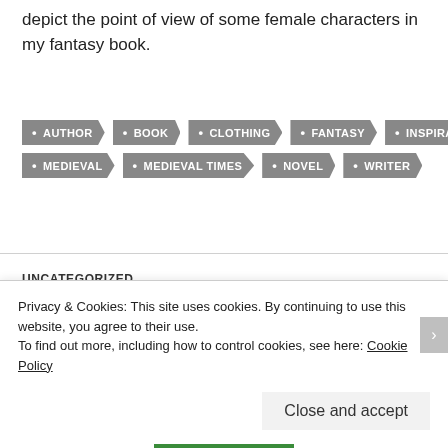depict the point of view of some female characters in my fantasy book.
AUTHOR
BOOK
CLOTHING
FANTASY
INSPIRATION
MEDIEVAL
MEDIEVAL TIMES
NOVEL
WRITER
UNCATEGORIZED
SAMPLING SOUP AND BREAD
Privacy & Cookies: This site uses cookies. By continuing to use this website, you agree to their use.
To find out more, including how to control cookies, see here: Cookie Policy
Close and accept